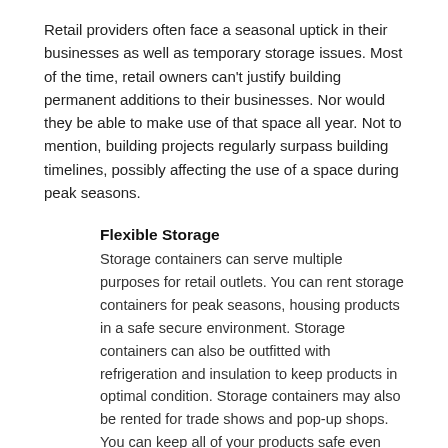Retail providers often face a seasonal uptick in their businesses as well as temporary storage issues. Most of the time, retail owners can't justify building permanent additions to their businesses. Nor would they be able to make use of that space all year. Not to mention, building projects regularly surpass building timelines, possibly affecting the use of a space during peak seasons.
Flexible Storage
Storage containers can serve multiple purposes for retail outlets. You can rent storage containers for peak seasons, housing products in a safe secure environment. Storage containers can also be outfitted with refrigeration and insulation to keep products in optimal condition. Storage containers may also be rented for trade shows and pop-up shops. You can keep all of your products safe even while remaining mobile.
Future Proof